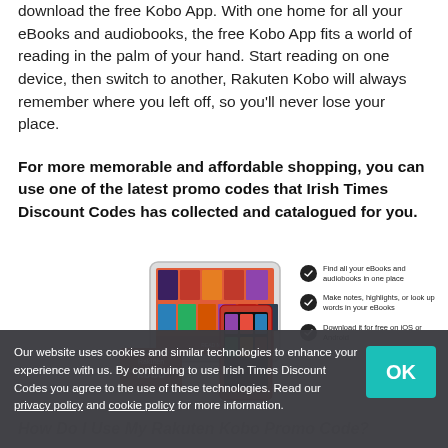download the free Kobo App. With one home for all your eBooks and audiobooks, the free Kobo App fits a world of reading in the palm of your hand. Start reading on one device, then switch to another, Rakuten Kobo will always remember where you left off, so you'll never lose your place.
For more memorable and affordable shopping, you can use one of the latest promo codes that Irish Times Discount Codes has collected and catalogued for you.
[Figure (photo): Rakuten Kobo app shown on tablet and phone devices, with Kobo logo badge in lower left. Features list beside device: Find all your eBooks and audiobooks in one place; Make notes, highlights, or look up words in your eBooks; Download it for free on iOS or Android.]
Our website uses cookies and similar technologies to enhance your experience with us. By continuing to use Irish Times Discount Codes you agree to the use of these technologies. Read our privacy policy and cookie policy for more information.
How Do I Use My Rakuten Kobo Promo Code?